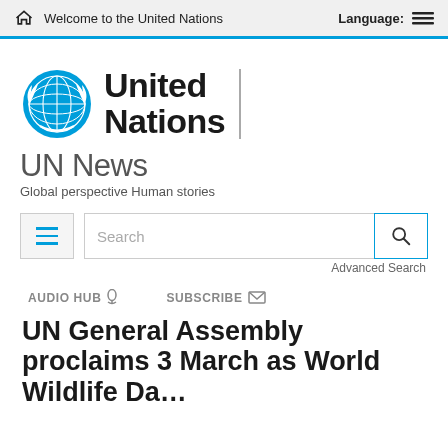Welcome to the United Nations | Language:
[Figure (logo): United Nations emblem logo (blue globe with laurel wreath) followed by 'United Nations' in bold black text with vertical divider]
UN News
Global perspective Human stories
[Figure (screenshot): Search bar UI with hamburger menu button on left, text input field with placeholder 'Search', and search icon button on right. 'Advanced Search' link below right.]
Advanced Search
AUDIO HUB 🎙  SUBSCRIBE ✉
UN General Assembly proclaims 3 March as World Wildlife Da…